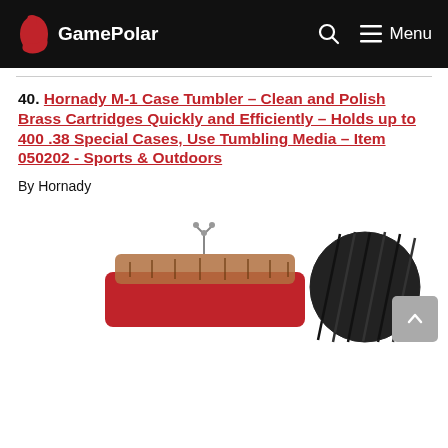GamePolar — Menu
40. Hornady M-1 Case Tumbler – Clean and Polish Brass Cartridges Quickly and Efficiently – Holds up to 400 .38 Special Cases, Use Tumbling Media – Item 050202 - Sports & Outdoors
By Hornady
[Figure (photo): Hornady M-1 Case Tumbler product photo showing the red and black tumbler unit]